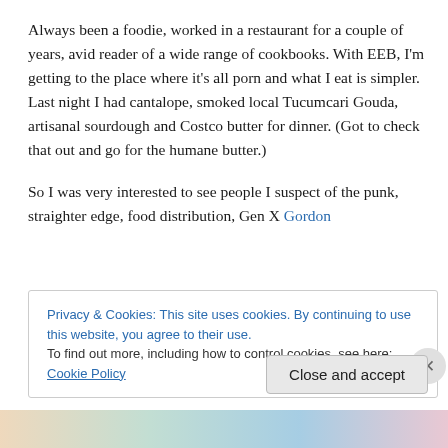Always been a foodie, worked in a restaurant for a couple of years, avid reader of a wide range of cookbooks. With EEB, I'm getting to the place where it's all porn and what I eat is simpler. Last night I had cantalope, smoked local Tucumcari Gouda, artisanal sourdough and Costco butter for dinner. (Got to check that out and go for the humane butter.)
So I was very interested to see people I suspect of the punk, straighter edge, food distribution, Gen X Gordon
Privacy & Cookies: This site uses cookies. By continuing to use this website, you agree to their use.
To find out more, including how to control cookies, see here: Cookie Policy
Close and accept